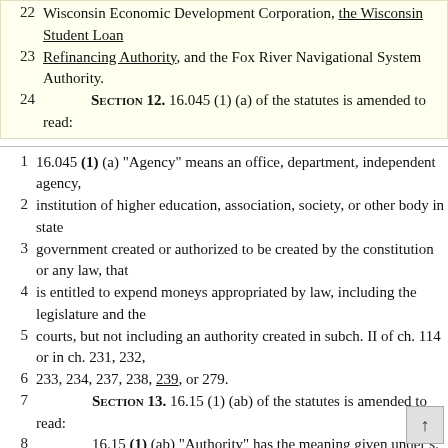22 Wisconsin Economic Development Corporation, the Wisconsin Student Loan
23 Refinancing Authority, and the Fox River Navigational System Authority.
24    SECTION 12. 16.045 (1) (a) of the statutes is amended to read:
1  16.045 (1) (a) "Agency" means an office, department, independent agency,
2  institution of higher education, association, society, or other body in state
3  government created or authorized to be created by the constitution or any law, that
4  is entitled to expend moneys appropriated by law, including the legislature and the
5  courts, but not including an authority created in subch. II of ch. 114 or in ch. 231, 232,
6  233, 234, 237, 238, 239, or 279.
7    SECTION 13. 16.15 (1) (ab) of the statutes is amended to read:
8        16.15 (1) (ab) "Authority" has the meaning given under s. 16.70 (2), but
9  excludes the University of Wisconsin Hospitals and Clinics Authority, the Lower Fox
10 River Remediation Authority, the Wisconsin Student